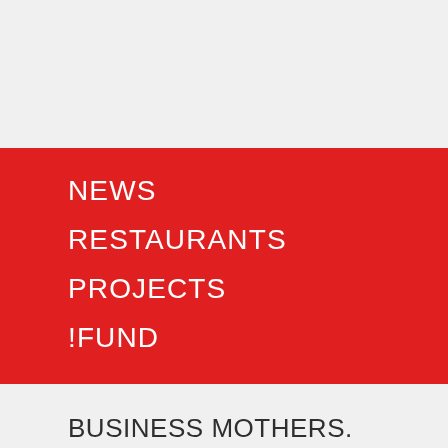NEWS
RESTAURANTS
PROJECTS
!FUND
BUSINESS MOTHERS. STORY #1
07.10.15